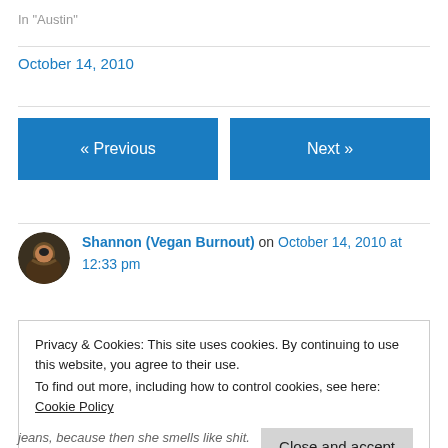In "Austin"
October 14, 2010
« Previous
Next »
Shannon (Vegan Burnout) on October 14, 2010 at 12:33 pm
Privacy & Cookies: This site uses cookies. By continuing to use this website, you agree to their use.
To find out more, including how to control cookies, see here: Cookie Policy
Close and accept
jeans, because then she smells like shit.